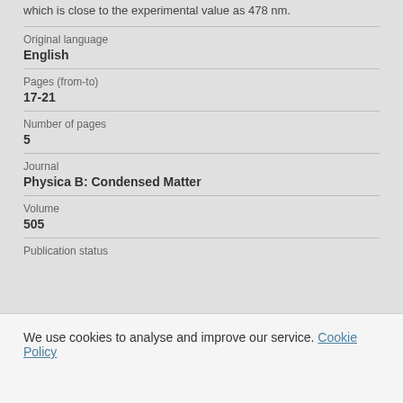which is close to the experimental value as 478 nm.
| Original language | English |
| Pages (from-to) | 17-21 |
| Number of pages | 5 |
| Journal | Physica B: Condensed Matter |
| Volume | 505 |
| Publication status |  |
We use cookies to analyse and improve our service. Cookie Policy